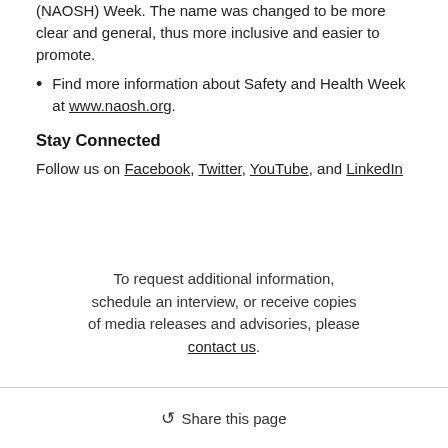(NAOSH) Week. The name was changed to be more clear and general, thus more inclusive and easier to promote.
Find more information about Safety and Health Week at www.naosh.org.
Stay Connected
Follow us on Facebook, Twitter, YouTube, and LinkedIn
To request additional information, schedule an interview, or receive copies of media releases and advisories, please contact us.
Share this page